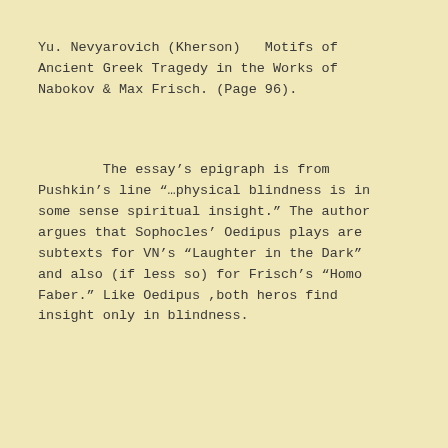Yu. Nevyarovich (Kherson)   Motifs of Ancient Greek Tragedy in the Works of Nabokov & Max Frisch. (Page 96).
The essay's epigraph is from Pushkin's line “…physical blindness is in some sense spiritual insight.” The author argues that Sophocles’ Oedipus plays are subtexts for VN’s “Laughter in the Dark” and also (if less so) for Frisch’s “Homo Faber.” Like Oedipus ,both heros find insight only in blindness.